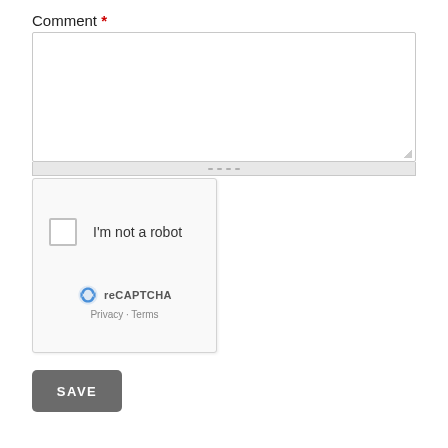Comment *
[Figure (screenshot): A web form with a comment textarea (empty), a reCAPTCHA widget with checkbox labeled 'I'm not a robot' and reCAPTCHA Privacy/Terms links, and a SAVE button.]
I'm not a robot
reCAPTCHA
Privacy · Terms
SAVE